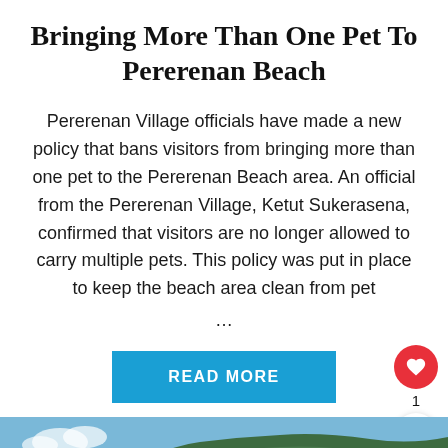Bringing More Than One Pet To Pererenan Beach
Pererenan Village officials have made a new policy that bans visitors from bringing more than one pet to the Pererenan Beach area. An official from the Pererenan Village, Ketut Sukerasena, confirmed that visitors are no longer allowed to carry multiple pets. This policy was put in place to keep the beach area clean from pet ...
[Figure (photo): A coastal scene showing blue sky, green rocky hillside with vegetation, photographed from below]